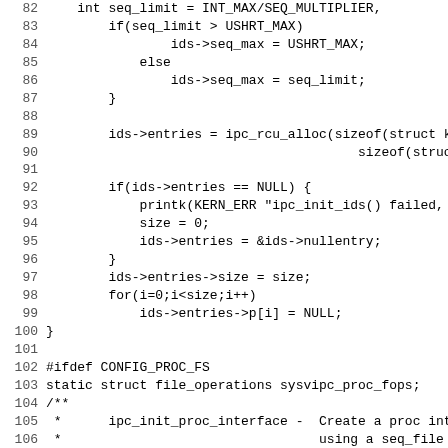Source code listing, lines 82-114, C kernel code
82     int seq_limit = INT_MAX/SEQ_MULTIPLIER,
83         if(seq_limit > USHRT_MAX)
84                 ids->seq_max = USHRT_MAX;
85             else
86                 ids->seq_max = seq_limit;
87         }
88
89         ids->entries = ipc_rcu_alloc(sizeof(struct kern
90                                         sizeof(struct ipc_
91
92         if(ids->entries == NULL) {
93             printk(KERN_ERR "ipc_init_ids() failed,
94             size = 0;
95             ids->entries = &ids->nullentry;
96         }
97         ids->entries->size = size;
98         for(i=0;i<size;i++)
99             ids->entries->p[i] = NULL;
100 }
101
102 #ifdef CONFIG_PROC_FS
103 static struct file_operations sysvipc_proc_fops;
104 /**
105  *      ipc_init_proc_interface -  Create a proc interf
106  *                                  using a seq_file int
107  *      @path: Path in procfs
108  *      @header: Banner to be printed at the beginning
109  *      @ids: ipc id table to iterate.
110  *      @show: show routine.
111  */
112 void __init ipc_init_proc_interface(const char *path, c
113                                     struct ipc_ids *ids
114                                     int (*show)(struct